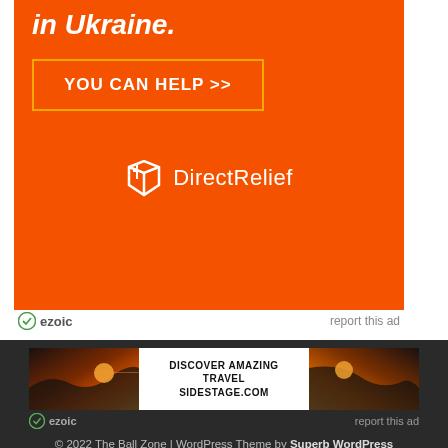[Figure (infographic): Orange Direct Relief advertisement banner for Ukraine with 'in Ukraine.' heading, 'YOU CAN HELP >>' button, and Direct Relief logo]
ezoic    report this ad
[Figure (infographic): Travel advertisement banner with sunset photo and text 'DISCOVER AMAZING TRAVEL SIDESTAGE.COM']
ezoic    report this ad
© 2022 The Ball Zone | WordPress Theme by Superb WordPress